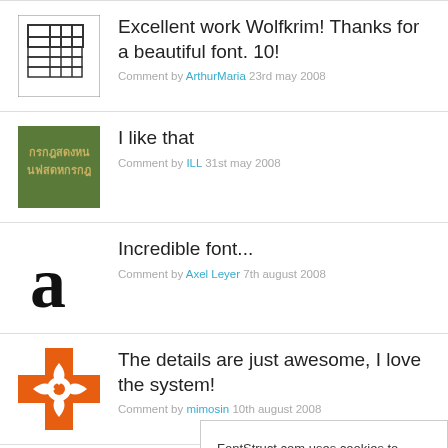Excellent work Wolfkrim! Thanks for a beautiful font. 10!
Comment by ArthurMaria 23rd may 2008
I like that
Comment by ILL 31st may 2008
Incredible font...
Comment by Axel Leyer 7th august 2008
The details are just awesome, I love the system!
Comment by mimosin 10th august 2008
I prefer the bold bla... thin lettering. Gooc... thanks!
Comment by eonboy 18th september 2008
FontStruct.com uses cookies to ensure you get the best experience on our website. More
Got it